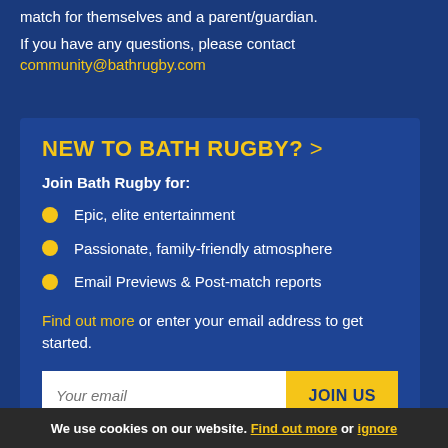match for themselves and a parent/guardian.
If you have any questions, please contact community@bathrugby.com
NEW TO BATH RUGBY? >
Join Bath Rugby for:
Epic, elite entertainment
Passionate, family-friendly atmosphere
Email Previews & Post-match reports
Find out more or enter your email address to get started.
We use cookies on our website. Find out more or ignore